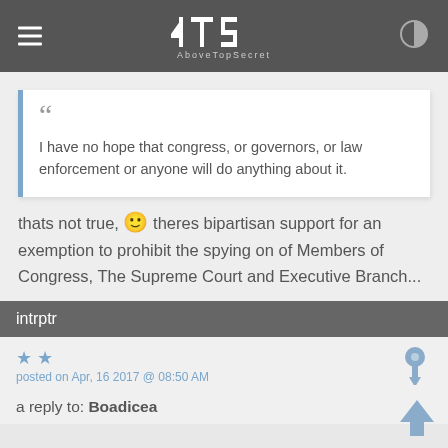ATS AboveTopSecret
I have no hope that congress, or governors, or law enforcement or anyone will do anything about it.
thats not true, 😊 theres bipartisan support for an exemption to prohibit the spying on of Members of Congress, The Supreme Court and Executive Branch...
intrptr
posted on Apr, 16 2017 @ 08:50 AM
a reply to: Boadicea